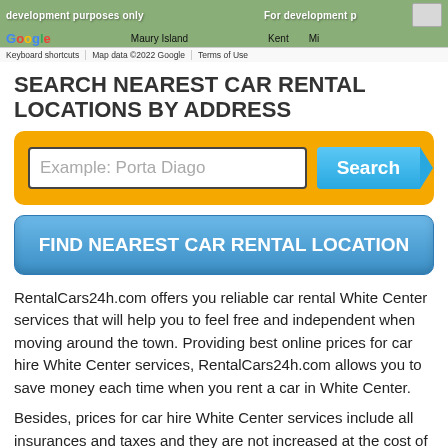[Figure (screenshot): Google Maps strip showing map area with 'For development purposes only' watermark, Google logo, place labels (Maury Island, Kent), keyboard shortcuts bar, map data copyright notice, and Terms of Use link.]
SEARCH NEAREST CAR RENTAL LOCATIONS BY ADDRESS
[Figure (screenshot): Yellow search bar with text input showing placeholder 'Example: Porta Diago' and a blue 'Search' button with arrow shape on the right.]
[Figure (screenshot): Blue button labeled 'FIND NEAREST CAR RENTAL LOCATION' with rounded corners and gradient styling.]
RentalCars24h.com offers you reliable car rental White Center services that will help you to feel free and independent when moving around the town. Providing best online prices for car hire White Center services, RentalCars24h.com allows you to save money each time when you rent a car in White Center.
Besides, prices for car hire White Center services include all insurances and taxes and they are not increased at the cost of